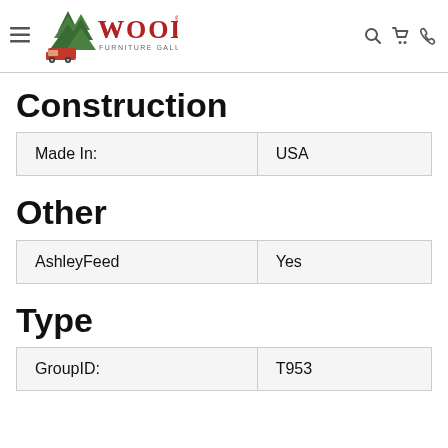Woods Furniture Gallery & Design
Construction
| Made In: | USA |
Other
| AshleyFeed | Yes |
Type
| GroupID: | T953 |